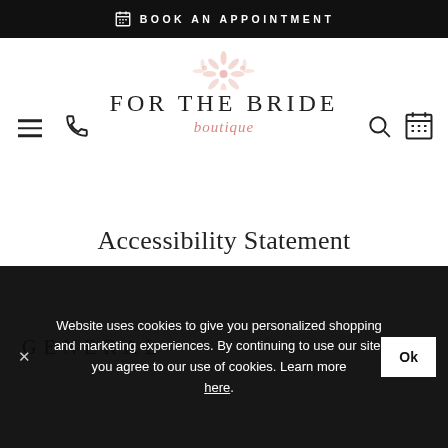BOOK AN APPOINTMENT
[Figure (logo): For The Bride Boutique logo with decorative pink floral element above serif text FOR THE BRIDE and italic script boutique below, flanked by hamburger menu, phone, search, and calendar icons]
Accessibility Statement
GENERAL
Website uses cookies to give you personalized shopping and marketing experiences. By continuing to use our site, you agree to our use of cookies. Learn more here.